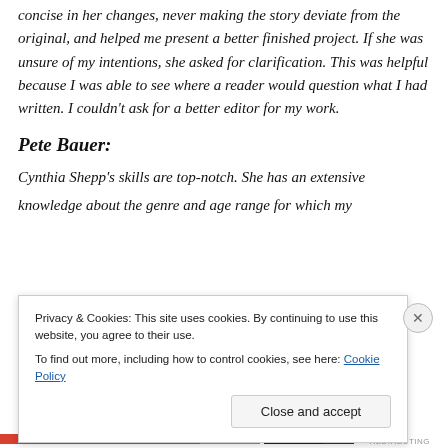concise in her changes, never making the story deviate from the original, and helped me present a better finished project. If she was unsure of my intentions, she asked for clarification. This was helpful because I was able to see where a reader would question what I had written. I couldn't ask for a better editor for my work.
Pete Bauer:
Cynthia Shepp's skills are top-notch. She has an extensive knowledge about the genre and age range for which my
Privacy & Cookies: This site uses cookies. By continuing to use this website, you agree to their use.
To find out more, including how to control cookies, see here: Cookie Policy
Close and accept